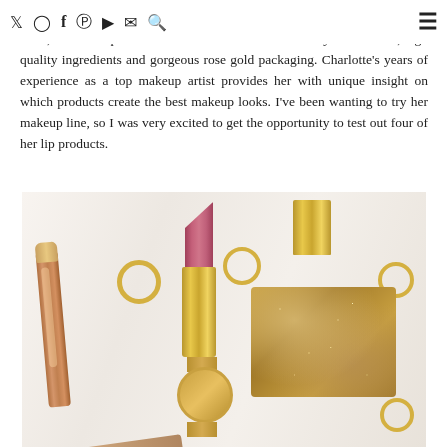navigation bar with social media icons (Twitter, Instagram, Facebook, Pinterest, YouTube, Email, Search) and hamburger menu
chances are you're already a fan of Charlotte Tilbury. Since founding in 2013, her makeup line has become famous for its creamy formulation, high quality ingredients and gorgeous rose gold packaging. Charlotte's years of experience as a top makeup artist provides her with unique insight on which products create the best makeup looks. I've been wanting to try her makeup line, so I was very excited to get the opportunity to test out four of her lip products.
[Figure (photo): Flatlay photo on a white marble surface showing Charlotte Tilbury makeup products including a pink lipstick with gold case, a nude lip gloss, a gold lipstick cap, a glitter gold card wallet, a gold chronograph watch, multiple gold rings, and a nude lip liner pencil]